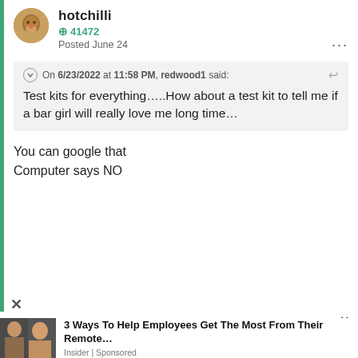hotchilli
41472
Posted June 24
On 6/23/2022 at 11:58 PM, redwood1 said:
Test kits for everything.....How about a test kit to tell me if a bar girl will really love me long time...
You can google that
Computer says NO
3 Ways To Help Employees Get The Most From Their Remote...
Insider | Sponsored